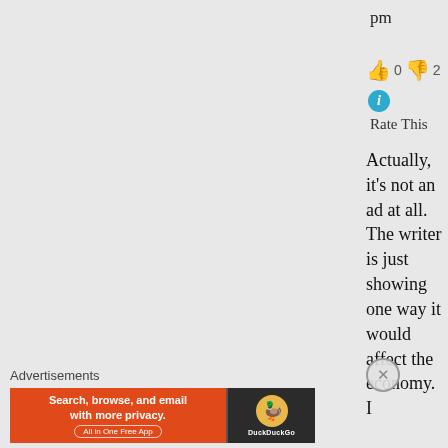pm
👍 0 👎 2
Rate This
Actually, it's not an ad at all. The writer is just showing one way it would affect the economy. I
Advertisements
[Figure (other): DuckDuckGo advertisement banner: orange left side with text 'Search, browse, and email with more privacy. All in One Free App', dark right side with DuckDuckGo logo and duck icon]